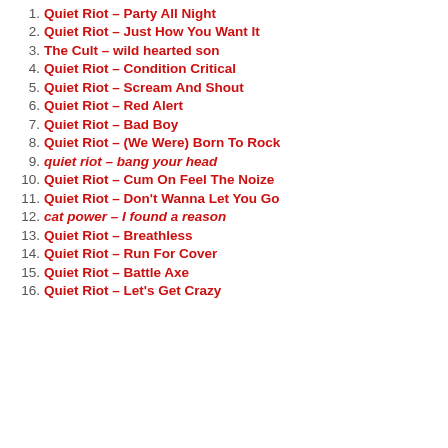1. Quiet Riot – Party All Night
2. Quiet Riot – Just How You Want It
3. The Cult – wild hearted son
4. Quiet Riot – Condition Critical
5. Quiet Riot – Scream And Shout
6. Quiet Riot – Red Alert
7. Quiet Riot – Bad Boy
8. Quiet Riot – (We Were) Born To Rock
9. quiet riot – bang your head
10. Quiet Riot – Cum On Feel The Noize
11. Quiet Riot – Don't Wanna Let You Go
12. cat power – I found a reason
13. Quiet Riot – Breathless
14. Quiet Riot – Run For Cover
15. Quiet Riot – Battle Axe
16. Quiet Riot – Let's Get Crazy